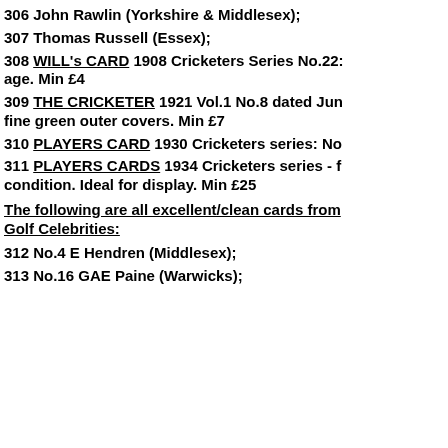306 John Rawlin (Yorkshire & Middlesex);
307 Thomas Russell (Essex);
308 WILL's CARD 1908 Cricketers Series No.22: age. Min £4
309 THE CRICKETER 1921 Vol.1 No.8 dated Jun fine green outer covers. Min £7
310 PLAYERS CARD 1930 Cricketers series: No
311 PLAYERS CARDS 1934 Cricketers series - f condition. Ideal for display. Min £25
The following are all excellent/clean cards from Golf Celebrities:
312 No.4 E Hendren (Middlesex);
313 No.16 GAE Paine (Warwicks);